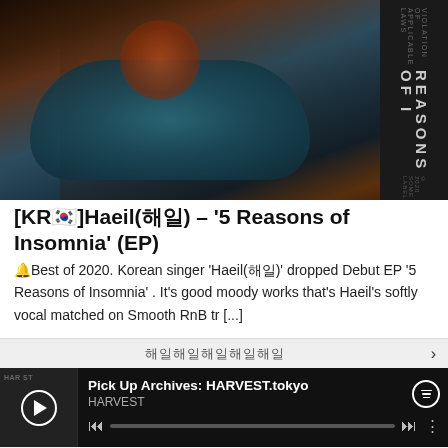[Figure (photo): Album cover photo for '5 Reasons of Insomnia' EP by Haeil, showing a person in colorful clothing with dark atmospheric lighting and vertical album title text on the right side]
[KR🇰🇷]Haeil(해일) – '5 Reasons of Insomnia' (EP)
🔔Best of 2020. Korean singer 'Haeil(해일)' dropped Debut EP '5 Reasons of Insomnia' . It's good moody works that's Haeil's softly vocal matched on Smooth RnB tr [...]
해일해일해일해일해일 >
[Figure (screenshot): Spotify music player bar showing 'Pick Up Archives: HARVEST.tokyo' playlist by HARVEST, with play button, progress bar, skip and share controls]
1  spiderman4  Peterparker69, Jeter, Y ohtrixpointnever  2:11
2  Flight to Mumbai  2:25